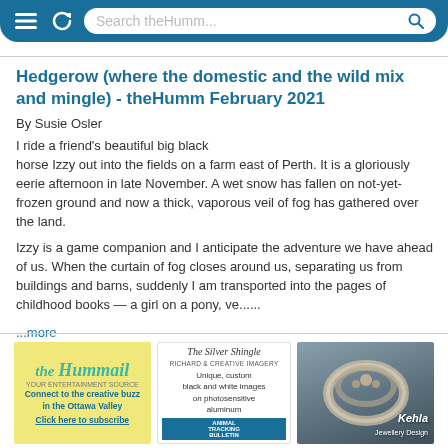Search theHumm...
Hedgerow (where the domestic and the wild mix and mingle) - theHumm February 2021
By Susie Osler
I ride a friend's beautiful big black horse Izzy out into the fields on a farm east of Perth. It is a gloriously eerie afternoon in late November. A wet snow has fallen on not-yet-frozen ground and now a thick, vaporous veil of fog has gathered over the land.
Izzy is a game companion and I anticipate the adventure we have ahead of us. When the curtain of fog closes around us, separating us from buildings and barns, suddenly I am transported into the pages of childhood books — a girl on a pony, ve......
...more
[Figure (advertisement): theHummail advertisement - yellow background, teal logo text, 'Connect to the creative buzz in the Ottawa Valley', 'Click here to subscribe']
[Figure (advertisement): The Silver Shingle advertisement - unique, custom black and white images on photosensitive aluminum, Animal Tracking Bulletin]
[Figure (advertisement): Kehla Jewellery Design advertisement - rings photo on grey/blue background]